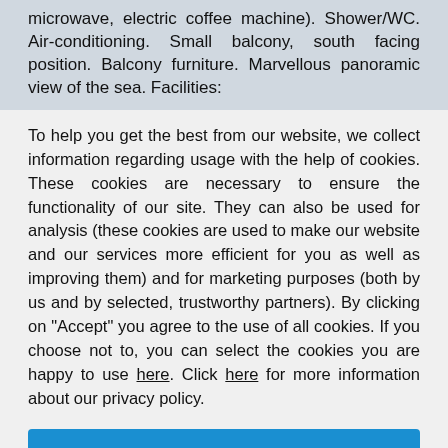microwave, electric coffee machine). Shower/WC. Air-conditioning. Small balcony, south facing position. Balcony furniture. Marvellous panoramic view of the sea. Facilities:
To help you get the best from our website, we collect information regarding usage with the help of cookies. These cookies are necessary to ensure the functionality of our site. They can also be used for analysis (these cookies are used to make our website and our services more efficient for you as well as improving them) and for marketing purposes (both by us and by selected, trustworthy partners). By clicking on "Accept" you agree to the use of all cookies. If you choose not to, you can select the cookies you are happy to use here. Click here for more information about our privacy policy.
Accept
Decline
Configure